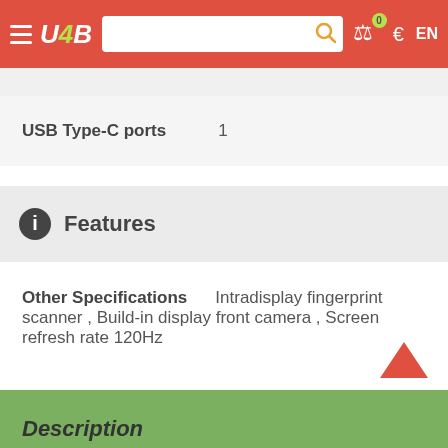U4B navigation bar with search, cart, currency (€), language (EN)
USB Type-C ports    1
Features
Other Specifications    Intradisplay fingerprint scanner , Build-in display front camera , Screen refresh rate 120Hz
Description